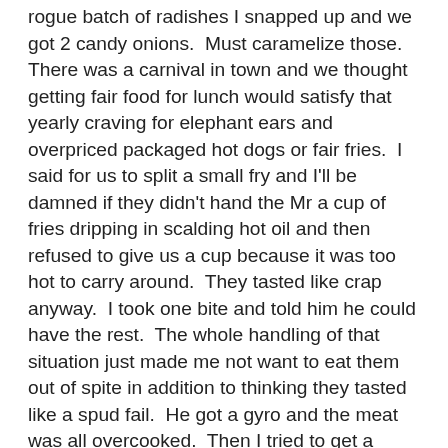rogue batch of radishes I snapped up and we got 2 candy onions.  Must caramelize those.  There was a carnival in town and we thought getting fair food for lunch would satisfy that yearly craving for elephant ears and overpriced packaged hot dogs or fair fries.  I said for us to split a small fry and I'll be damned if they didn't hand the Mr a cup of fries dripping in scalding hot oil and then refused to give us a cup because it was too hot to carry around.  They tasted like crap anyway.  I took one bite and told him he could have the rest.  The whole handling of that situation just made me not want to eat them out of spite in addition to thinking they tasted like a spud fail.  He got a gyro and the meat was all overcooked.  Then I tried to get a small coney dog and it tasted like sloppy joes on top so I threw that away.  I tried again with a corn dog that only had flavor when there was mustard and ketchup in the bite.  The lemon shake up I do is MUCH better than the crap we got there.  CHUNKS of turbinado sugar that didn't melt at the bottom so I had to drink from the top with the straw so I wouldn't get nasty sugar grit burn when I tried to quench my summer thirst.  I was ready to scream.  I found the cheapest elephant ear guy (a must have once a year) and thankfully it was REALLY good.  Thank